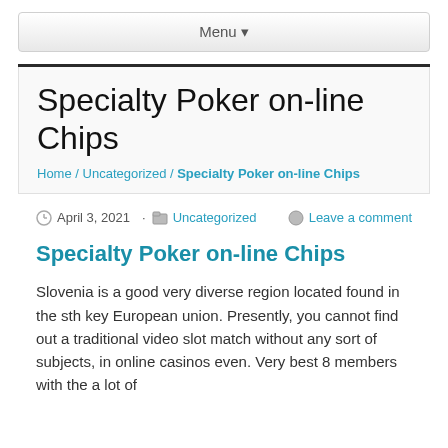Menu ▾
Specialty Poker on-line Chips
Home / Uncategorized / Specialty Poker on-line Chips
April 3, 2021 · Uncategorized  Leave a comment
Specialty Poker on-line Chips
Slovenia is a good very diverse region located found in the sth key European union. Presently, you cannot find out a traditional video slot match without any sort of subjects, in online casinos even. Very best 8 members with the a lot of